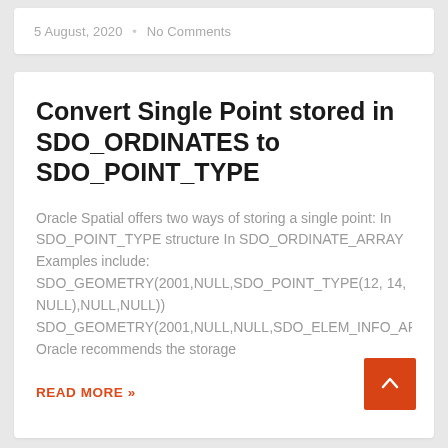5 August, 2020  •  No Comments
Convert Single Point stored in SDO_ORDINATES to SDO_POINT_TYPE
Oracle Spatial offers two ways of storing a single point: In SDO_POINT_TYPE structure In SDO_ORDINATE_ARRAY Examples include: SDO_GEOMETRY(2001,NULL,SDO_POINT_TYPE(12, 14, NULL),NULL,NULL)) SDO_GEOMETRY(2001,NULL,NULL,SDO_ELEM_INFO_AR Oracle recommends the storage
READ MORE »